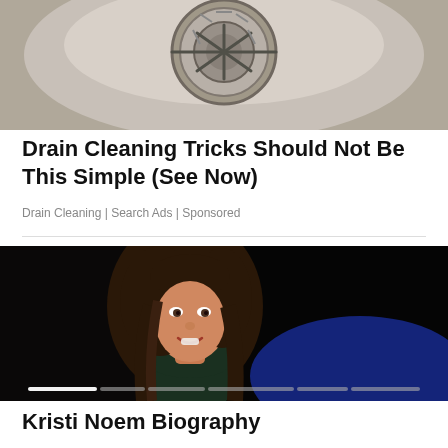[Figure (photo): Close-up photo of a metallic drain, viewed from above, on a grey/silver surface]
Drain Cleaning Tricks Should Not Be This Simple (See Now)
Drain Cleaning | Search Ads | Sponsored
[Figure (photo): Portrait photo of Kristi Noem smiling, dark background with blue lighting element at bottom right]
Kristi Noem Biography